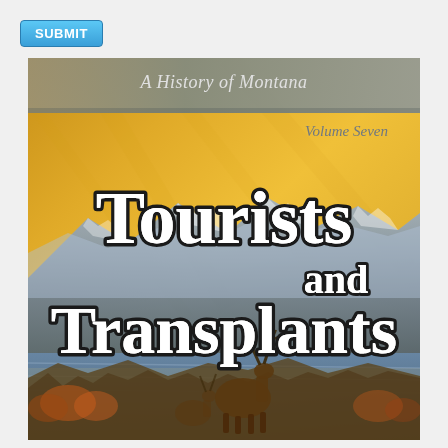[Figure (other): A blue button labeled SUBMIT in white bold text]
[Figure (illustration): Book cover for 'Tourists and Transplants: A History of Montana, Volume Seven'. Features a golden/yellow sky background with mountains and a landscape scene at the bottom showing elk/deer near water with mountains in background. Large bold white text with black outline displays the title. Gray banner at top shows series and volume information.]